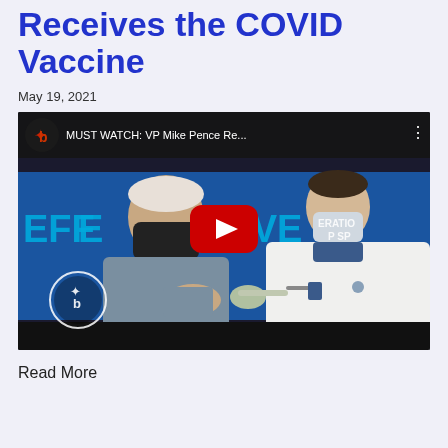Receives the COVID Vaccine
May 19, 2021
[Figure (screenshot): YouTube video thumbnail showing VP Mike Pence receiving the COVID vaccine. Title bar reads 'MUST WATCH: VP Mike Pence Re...' with a channel logo. A play button is centered. Scene shows a man in a mask receiving an injection from a healthcare worker in a white coat. A watermark logo is visible bottom-left. Background shows text 'EFFE...TIVE' and 'ERATION SP...']
Read More